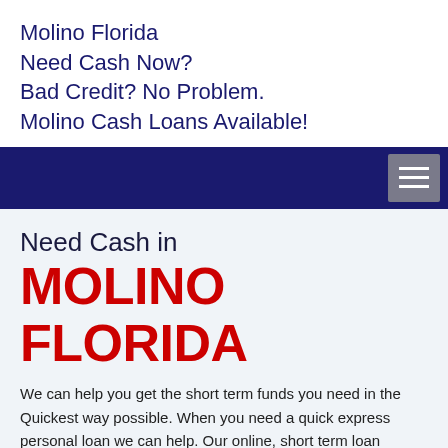Molino Florida Need Cash Now? Bad Credit? No Problem. Molino Cash Loans Available!
[Figure (other): Dark navy navigation bar with a hamburger menu button (three horizontal lines) on the right side]
Need Cash in MOLINO FLORIDA
We can help you get the short term funds you need in the Quickest way possible. When you need a quick express personal loan we can help. Our online, short term loan services can get you your unsecure cash loan in the shortest time possible. Highly secure in Molino and all done online...